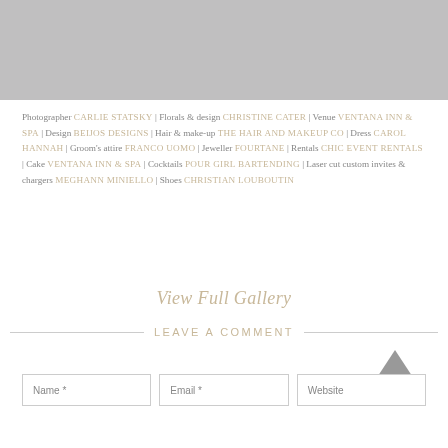[Figure (photo): Gray placeholder image at top of page]
Photographer CARLIE STATSKY | Florals & design CHRISTINE CATER | Venue VENTANA INN & SPA | Design BEIJOS DESIGNS | Hair & make-up THE HAIR AND MAKEUP CO | Dress CAROL HANNAH | Groom's attire FRANCO UOMO | Jeweller FOURTANE | Rentals CHIC EVENT RENTALS | Cake VENTANA INN & SPA | Cocktails POUR GIRL BARTENDING | Laser cut custom invites & chargers MEGHANN MINIELLO | Shoes CHRISTIAN LOUBOUTIN
View Full Gallery
LEAVE A COMMENT